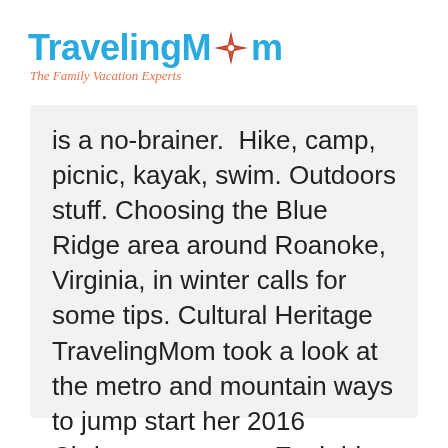[Figure (logo): TravelingMom logo with compass rose star icon and tagline 'The Family Vacation Experts']
is a no-brainer.  Hike, camp, picnic, kayak, swim. Outdoors stuff. Choosing the Blue Ridge area around Roanoke, Virginia, in winter calls for some tips. Cultural Heritage TravelingMom took a look at the metro and mountain ways to jump start her 2016 Christmas season. Each idea will fit for 2017 travels too.